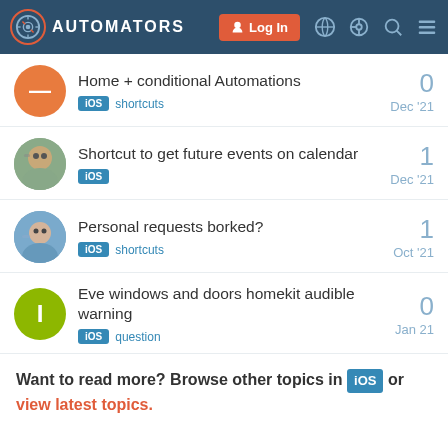AUTOMATORS — Log In
Home + conditional Automations | iOS shortcuts | 0 | Dec '21
Shortcut to get future events on calendar | iOS | 1 | Dec '21
Personal requests borked? | iOS shortcuts | 1 | Oct '21
Eve windows and doors homekit audible warning | iOS question | 0 | Jan 21
Want to read more? Browse other topics in iOS or view latest topics.